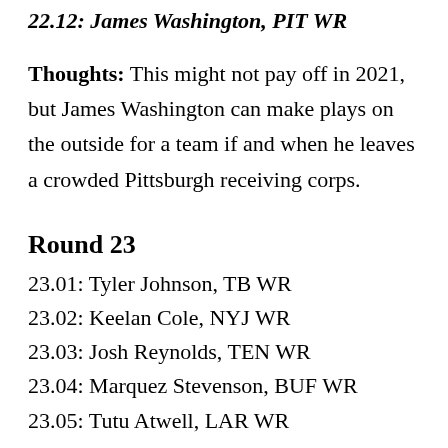22.12: James Washington, PIT WR
Thoughts: This might not pay off in 2021, but James Washington can make plays on the outside for a team if and when he leaves a crowded Pittsburgh receiving corps.
Round 23
23.01: Tyler Johnson, TB WR
23.02: Keelan Cole, NYJ WR
23.03: Josh Reynolds, TEN WR
23.04: Marquez Stevenson, BUF WR
23.05: Tutu Atwell, LAR WR
23.06: Los Angeles Chargers D/ST